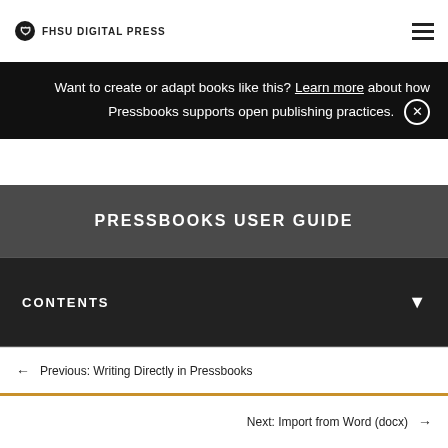FHSU DIGITAL PRESS
Want to create or adapt books like this? Learn more about how Pressbooks supports open publishing practices.
PRESSBOOKS USER GUIDE
CONTENTS
Previous: Writing Directly in Pressbooks
Next: Import from Word (docx)